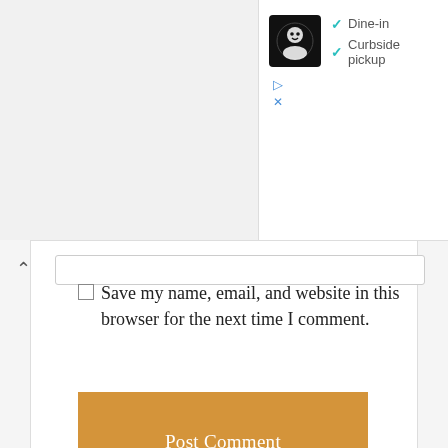[Figure (screenshot): Ad panel showing a restaurant logo with checkmarks for Dine-in and Curbside pickup, with ad controls (play and close icons)]
Save my name, email, and website in this browser for the next time I comment.
Post Comment